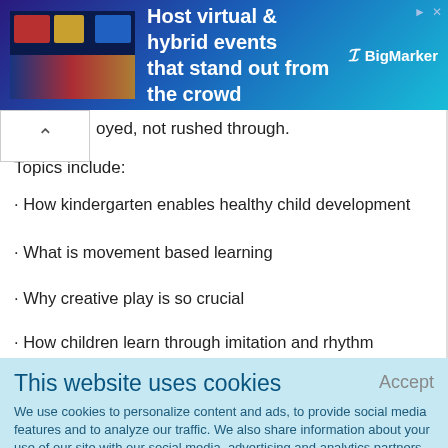[Figure (screenshot): Advertisement banner for BigMarker: 'Host virtual & hybrid events that stand out from the crowd' with a thumbnail image on the left and BigMarker logo on the right on a blue/teal gradient background.]
oyed, not rushed through.
Topics include:
· How kindergarten enables healthy child development
· What is movement based learning
· Why creative play is so crucial
· How children learn through imitation and rhythm
This website uses cookies
We use cookies to personalize content and ads, to provide social media features and to analyze our traffic. We also share information about your use of our site with our social media, advertising and analytics partners who may combine it with other information that you've provided to them or that they've collected from your use of their services.
Learn More.